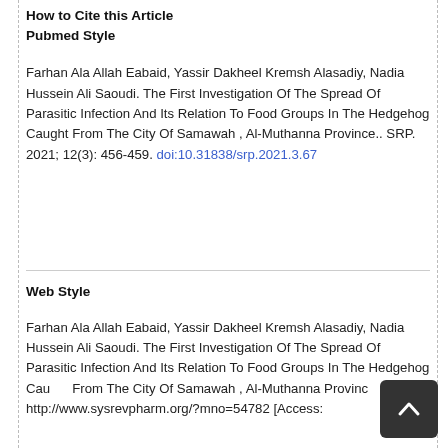How to Cite this Article
Pubmed Style
Farhan Ala Allah Eabaid, Yassir Dakheel Kremsh Alasadiy, Nadia Hussein Ali Saoudi. The First Investigation Of The Spread Of Parasitic Infection And Its Relation To Food Groups In The Hedgehog Caught From The City Of Samawah , Al-Muthanna Province.. SRP. 2021; 12(3): 456-459. doi:10.31838/srp.2021.3.67
Web Style
Farhan Ala Allah Eabaid, Yassir Dakheel Kremsh Alasadiy, Nadia Hussein Ali Saoudi. The First Investigation Of The Spread Of Parasitic Infection And Its Relation To Food Groups In The Hedgehog Caught From The City Of Samawah , Al-Muthanna Province.. http://www.sysrevpharm.org/?mno=54782 [Access: